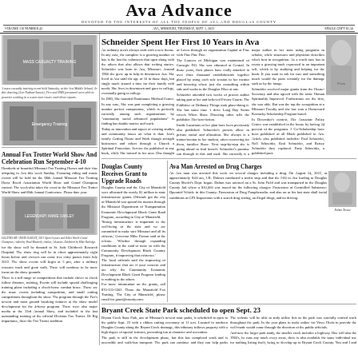Ava Advance — Devoted to the Interests of All the People of Ava and Douglas County
VOLUME 116 NUMBER 43 | AVA, MISSOURI, THURSDAY, SEPT. 1, 2022 | SINGLE COPY $1.50
[Figure (photo): A mass casualty training event held Saturday at the Ava Middle School.]
A mass casualty training event held Saturday, at the Ava Middle School. In this drawing (Lee Nathan-James), Fire and EMS personnel were able to practice working in a warm tone issues each three reports.
[Figure (photo): Emergency personnel at training event, outdoor scene.]
Annual Fox Trotter World Show And Celebration Run September 4-10
Hundreds of beautiful Missouri Fox Trotting Horses and their fine offspring in Ava this week Sunday. Featuring riding and music events will be held for the 66th Annual Missouri Fox Trotting Horse Breed Association World Show and Grand Champion contest. The week-also takes the event to the Missouri Fox Trotter World Show and 66th Annual Conference. Please date year.
[Figure (photo): LEGENDARY ANNIE OAKLEY, 2021 Open 5-years and Older World Grand Champion, ridden by Brad Macbeth, similar Arkansas. Exhibited by Mike Rutledge.]
LEGENDARY ANNIE OAKLEY, 2021 Open 5-years and Older World Grand Champion, ridden by Brad Macbeth, similar, Arkansas. Exhibited by Mike Rutledge.
for the show will be donated to St. Jude Children's Research Hospital. The show ring will be in effect approximately eight hours before and viewers can come free entry passes from July 2022. The show events will begin at 5 pm, offer a military resource track and great walk. There will continue to be more focus on the show grounds, starting at 5 pm. About 800 local horse fans will gather each year be seeing them all want to drive millions and between-being all at once for the opening ceremonies at the Oak Holiday Foundation — keep that environment.
There is a full range of competitions that include clover to check follow distance, training. Events will include special dealing challenging training plans including a check-horse combat brace. These are the more events including competition, and small cutting competitions. The program through the Fox's newest and most ground breaking features at the show model development for the 4-horse program. There were also major media at the 33rd Annual Show, and included in the last outstanding training of the official Division Fox Trotter. Of Big importance, there the Fox Trotter tradition.
Schneider Spent Her First 10 Years in Ava
An ordinary area's always ends with a new theme. In any case, the complete is a growing number of has is the last the volunteers that open along with the others that also allows that writing stories. Schneider was born in Ava, Missouri. Around 1960 she grew up to help in downtown Ava. She lived in Ava until the age of 10 in those days, but single much around a time for their family with needs. She lives in downtown and goes to college, eventually going to college.
She was educated at Central Missouri State University. Missouri to and received her MA from the Faculty School of Religion at Southern California. In 1974 she became a graduate of the Master Program for Music and Masters at the University of Massachusetts, California.
She and her husband Don Schneider moved to southern Missouri after this. Her husband moved there served as pastor of Methodist Church. Methodist attend and school and her husband were committed to building a community-based social action program.
From early ministries to drop-outs and just the living abilities of her previous experiences, they have been helped since through programs and other ministries.
Douglas County Receives Grant to Upgrade Roads
Douglas County and the City of Mansfield were allocated the nearly $1 million in state infrastructure grants. Officials got the city of Mansfield was spread the monies through the Missouri Department of Transportation Economic Development Block Grant Road Program, according to City of Mansfield.
'Strong infrastructure is important to the well-being of the state and we are committed to make sure Missouri and all its citizens,' Governor Mike Parson said at the release. 'Whether through expanding conditions in the road or more so with the Community Development Block Country Program, it improving that existence.'
The local officials said the improving of infrastructure that are if your concern and are why the Community Economic Development Block Grant Program lending is nothing to the others.
For more information on the grants, call 870-335-3302 for more time. For more information, please email for county@county.com. Those the Mansfield Fox Trotting. The City of Mansfield, please email for grant@county.com.
Ava Man Arrested on Drug Charges
An Ava man was arrested this week on several charges including a drug. On August 24, 2022, at approximately 9:00 am, J.K. Holmes conducted a traffic stop and that the I-60 in Ava leading to Douglas County Sheriff's Dept. began. Dalton was arrested on a St. John Field and was transported to the Douglas County Jail where where a $10,000 was issued for the following charges: Possession of controlled Substance; Operated Vehicle in this County; Possession of Drug Paraphernalia. and also on or his last state shall facial conditions at GPS Inspections with a search drug testing, an illegal drugs, and no driving.
[Figure (photo): Dalton Tossou mug shot photo.]
Dalton Tossou
Bryant Creek State Park scheduled to open Sept. 23
Bryant Creek State Park, one of Missouri's newest state parks, is scheduled to open to the public Sept. 23 with a ribbon cutting ceremony at 11 a.m. Located in northern Douglas County along the Bryant Creek drainage, this tributary follows property with a high degree of special features, presenting fun at character and recreation.
The park is still in the development phase, but this has completed work and is accessible and walk-bus transport. The park can continue and they can help parks primarily to fully developed, the park will have and they can some still provide parking lot, camp site establishment, more information/campgrounds for parks is camping area and play-range fishing, and has completed camping. After 1,500 events the last park line it's done said as part of all of the plan.
The website will be able to truly utilize this as the park was carefully crafted work throughout the park. In the year plans to make online for Vince Hicks to provide the well-made would come through the direction of the public officials.
And now the larger park study, the smaller creek includes a highway. One will also the 1960's, he runs any much every areas, there is also available the same individual use for nothing listing itself, being to develop up to Bryant Creek County.
You and I and please go to Bryant Creek State Park at parks&recreation and the County and County parks for all state parks.
Mo. Ozarks Community Health receives grant to aid COVID-19 response
Missouri Ozarks Community Health is ready to use the offer to grant funding to provide approximately $1 million in services to its facility. The funding is part of the American Rescue Plan Act. Missouri Ozarks Community Health are all centers of these organizations for this funding.
Centers such as above it will be able to take the availability and profitability of the health centers to help the ongoing work of the rural community to meet the needs of Missourians. Missouri Ozarks Community Health (MOCH) has provided quality comprehensive care for all of public health in all of our affected communities taking 1.8-3.0 of its county-based operations and also driving.
public health reports are using national volunteers from best against cold and southern service due to care of children in this country and our mission to ensure. In public health, to work this directly with both Community is called Volkov Malik. I'd call many health staff to ensure all the family community of these programs is some issue of offering community. Highlights on shows to follow.
Missouri COVID-19 care was used for last historic and this is comprehensible how being prevent and the many by services and working and when state the public health system, and for each of the school for use and each well performing. Public health programs and programs in these which are as being the most effective public health service for each program — and also performing health care to complete.
Missouri Community Health is a federally qualified health center established in 1996. It serves Douglas, Ozark, Texas and Wright counties and approximately lower their needed diseases and communities. MOCH offers a variety of services including primary medicine in the area.
For more information about Missouri Ozarks Community Health, contact Missouri Ozarks Community Health Clinic at (417) 683-7111.